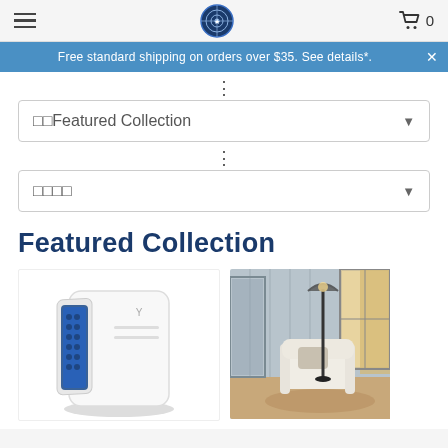Navigation header with hamburger menu, logo, and cart icon showing 0 items
Free standard shipping on orders over $35. See details*.×
⋮
□□Featured Collection
⋮
□□□□
Featured Collection
[Figure (photo): White rectangular air purifier/UV sterilizer device with a blue-lit door panel open showing foam interior]
[Figure (photo): Living room scene with a tall floor lamp next to a white armchair near a window with curtains and blue-gray paneled wall]